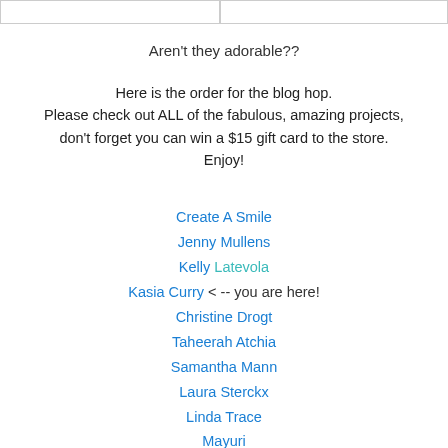Aren't they adorable??
Here is the order for the blog hop. Please check out ALL of the fabulous, amazing projects, don't forget you can win a $15 gift card to the store. Enjoy!
Create A Smile
Jenny Mullens
Kelly Latevola
Kasia Curry < -- you are here!
Christine Drogt
Taheerah Atchia
Samantha Mann
Laura Sterckx
Linda Trace
Mayuri
Danielle Walls
Amy Tsuruta